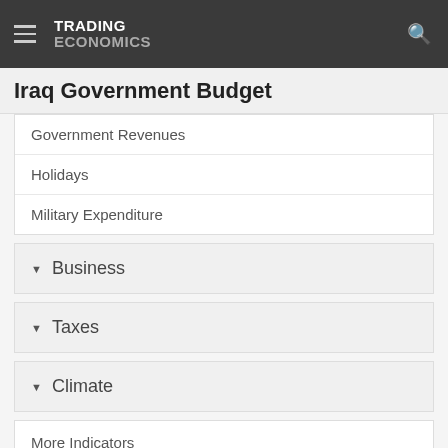TRADING ECONOMICS
Iraq Government Budget
Government Revenues
Holidays
Military Expenditure
Business
Taxes
Climate
More Indicators
National Statistics
World Bank